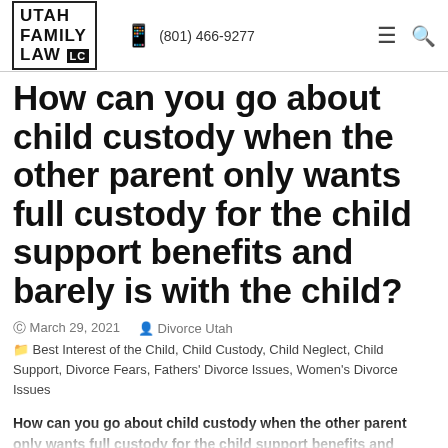Utah Family Law LC | (801) 466-9277
How can you go about child custody when the other parent only wants full custody for the child support benefits and barely is with the child?
March 29, 2021 | Divorce Utah
Best Interest of the Child, Child Custody, Child Neglect, Child Support, Divorce Fears, Fathers' Divorce Issues, Women's Divorce Issues
How can you go about child custody when the other parent only wants full custody for the child support benefits and barely is with the child?